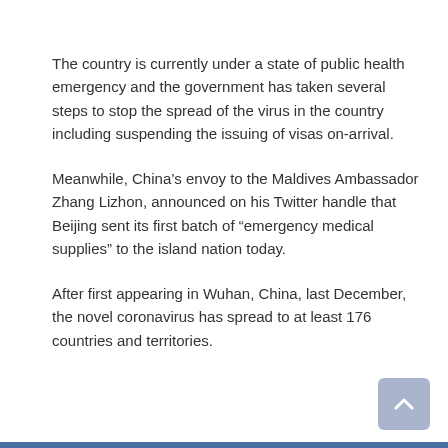The country is currently under a state of public health emergency and the government has taken several steps to stop the spread of the virus in the country including suspending the issuing of visas on-arrival.
Meanwhile, China’s envoy to the Maldives Ambassador Zhang Lizhon, announced on his Twitter handle that Beijing sent its first batch of “emergency medical supplies” to the island nation today.
After first appearing in Wuhan, China, last December, the novel coronavirus has spread to at least 176 countries and territories.